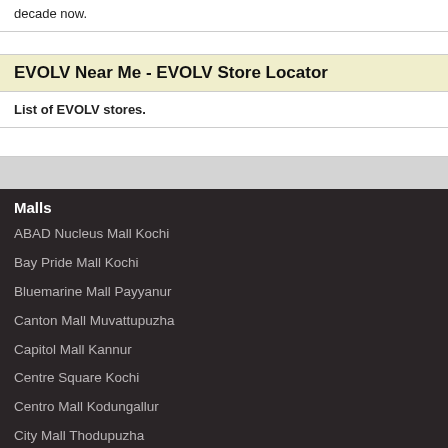decade now.
EVOLV Near Me - EVOLV Store Locator
List of EVOLV stores.
Malls
ABAD Nucleus Mall Kochi
Bay Pride Mall Kochi
Bluemarine Mall Payyanur
Canton Mall Muvattupuzha
Capitol Mall Kannur
Centre Square Kochi
Centro Mall Kodungallur
City Mall Thodupuzha